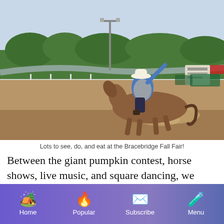[Figure (photo): A cowboy on horseback riding fast across a dirt arena at what appears to be a rodeo or fair. The horse is brown/chestnut, kicking up dust. There is a green barrel in the background, white fencing, trees, and fair signage. The sky is clear blue.]
Lots to see, do, and eat at the Bracebridge Fall Fair!
Between the giant pumpkin contest, horse shows, live music, and square dancing, we enjoyed a full weekend of entertainment, and camped on a hill overlooking the
Home  Popular  Subscribe  Menu